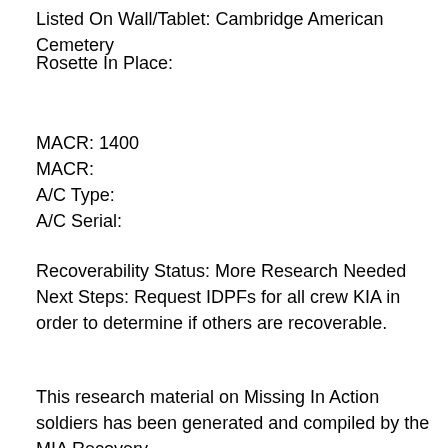Listed On Wall/Tablet: Cambridge American Cemetery
Rosette In Place:
MACR: 1400
MACR:
A/C Type:
A/C Serial:
Recoverability Status: More Research Needed
Next Steps: Request IDPFs for all crew KIA in order to determine if others are recoverable.
This research material on Missing In Action soldiers has been generated and compiled by the MIA Recovery